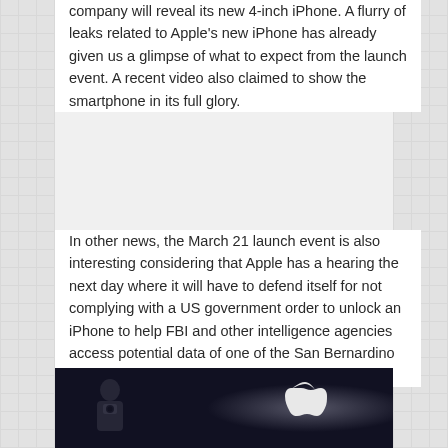company will reveal its new 4-inch iPhone. A flurry of leaks related to Apple's new iPhone has already given us a glimpse of what to expect from the launch event. A recent video also claimed to show the smartphone in its full glory.
In other news, the March 21 launch event is also interesting considering that Apple has a hearing the next day where it will have to defend itself for not complying with a US government order to unlock an iPhone to help FBI and other intelligence agencies access potential data of one of the San Bernardino shooters.
[Figure (photo): Dark photo showing a silhouette of a person/camera on the left and an Apple logo glowing on the right, against a dark navy/black background.]